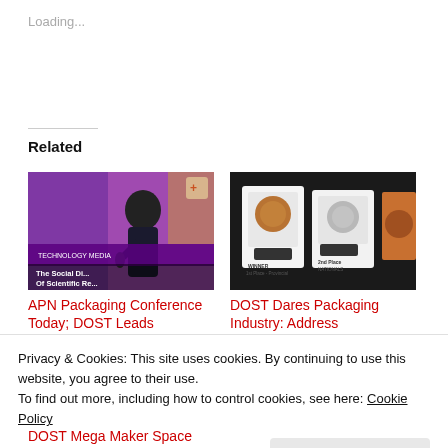Loading...
Related
[Figure (photo): Speaker at a conference presenting on 'The Social Di... Of Scientific Re...' with a TECHNOLOGY MEDIA banner visible, purple backdrop]
APN Packaging Conference Today; DOST Leads Speakers
October 22, 2019
[Figure (photo): Award trophies and plaques on a dark background, showing 'WINNER 1st Place' and '2nd Place NATIONALS' labels]
DOST Dares Packaging Industry: Address Environmental Impact
October 23, 2019
Privacy & Cookies: This site uses cookies. By continuing to use this website, you agree to their use.
To find out more, including how to control cookies, see here: Cookie Policy
Close and accept
DOST Mega Maker Space